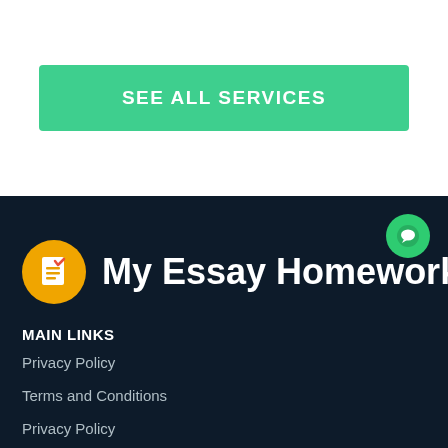SEE ALL SERVICES
[Figure (logo): My Essay Homework logo with document icon on yellow/orange circle background and green chat bubble icon]
MAIN LINKS
Privacy Policy
Terms and Conditions
Privacy Policy